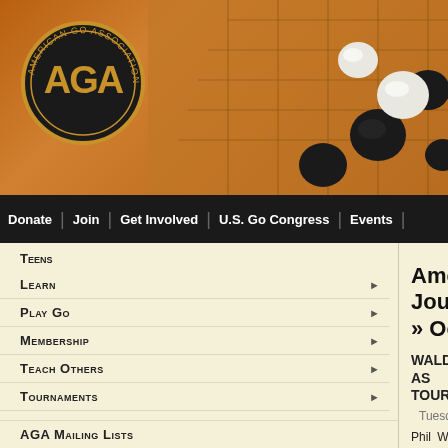[Figure (logo): American Go Association logo - circular emblem with AGA letters on orange banner header with go board and stones in background]
Donate | Join | Get Involved | U.S. Go Congress | Events | Teens
Teens
Learn
Play Go
Membership
Teach Others
Tournaments
Outreach
Kids & Teens
About the AGA
AGA Mailing Lists
American Go E-Journ » October
WALDRON STEPS DOWN AS TOURNAMENT COORDINAT
Tuesday October 20, 2009
Phil Waldron has announced that he's Tournament Coordinator for the American Go December 31. "I've had the pleasure of wor